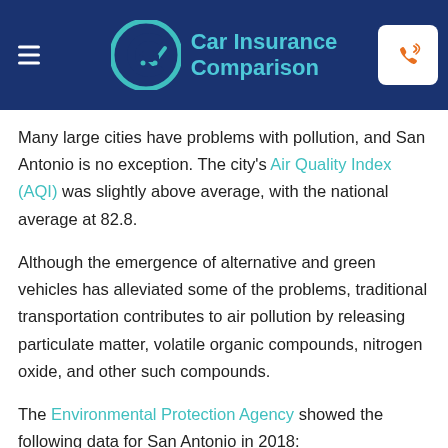Car Insurance Comparison
Many large cities have problems with pollution, and San Antonio is no exception. The city's Air Quality Index (AQI) was slightly above average, with the national average at 82.8.
Although the emergence of alternative and green vehicles has alleviated some of the problems, traditional transportation contributes to air pollution by releasing particulate matter, volatile organic compounds, nitrogen oxide, and other such compounds.
The Environmental Protection Agency showed the following data for San Antonio in 2018:
Days with unhealthy quality: 051